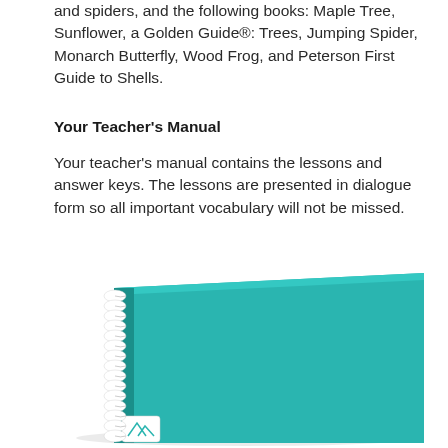and spiders, and the following books: Maple Tree, Sunflower, a Golden Guide®: Trees, Jumping Spider, Monarch Butterfly, Wood Frog, and Peterson First Guide to Shells.
Your Teacher's Manual
Your teacher's manual contains the lessons and answer keys. The lessons are presented in dialogue form so all important vocabulary will not be missed.
[Figure (photo): A teal/turquoise spiral-bound notebook photographed at an angle, with a white coil spine visible on the left side and a small white label sticker near the bottom left corner.]